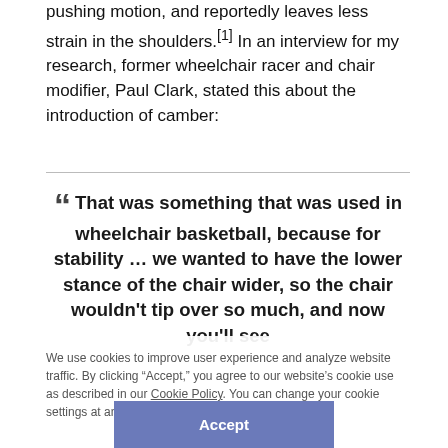pushing motion, and reportedly leaves less strain in the shoulders.[1] In an interview for my research, former wheelchair racer and chair modifier, Paul Clark, stated this about the introduction of camber:
““ That was something that was used in wheelchair basketball, because for stability … we wanted to have the lower stance of the chair wider, so the chair wouldn't tip over so much, and now you'll see quite an exaggerated camber to the basketball chairs, but back then even a little bit of camber was worth it. So that was the first change to wheelchair basketball chairs. And then from that we
We use cookies to improve user experience and analyze website traffic. By clicking “Accept,” you agree to our website’s cookie use as described in our Cookie Policy. You can change your cookie settings at any time by clicking “Preferences.”
Accept